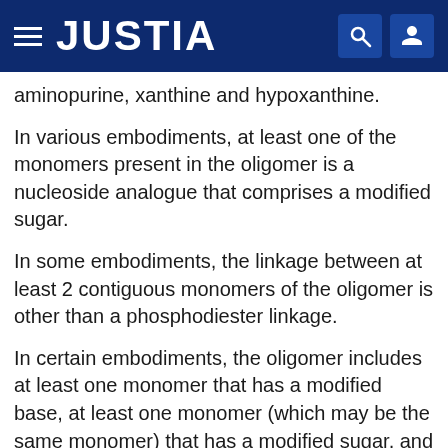JUSTIA
aminopurine, xanthine and hypoxanthine.
In various embodiments, at least one of the monomers present in the oligomer is a nucleoside analogue that comprises a modified sugar.
In some embodiments, the linkage between at least 2 contiguous monomers of the oligomer is other than a phosphodiester linkage.
In certain embodiments, the oligomer includes at least one monomer that has a modified base, at least one monomer (which may be the same monomer) that has a modified sugar, and at least one inter-monomer linkage that is non-naturally occurring.
Specific examples of nucleoside analogues are described by e.g. Freier & Altmann; Nucl. Acid Res., 1997, 25, 4429-